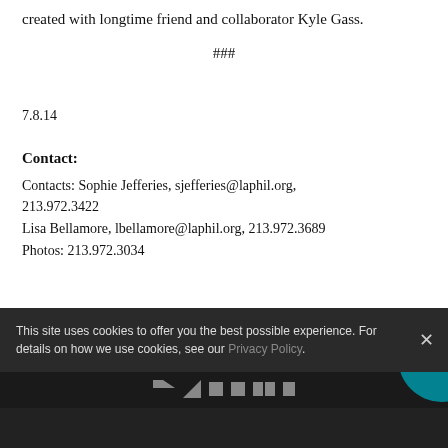created with longtime friend and collaborator Kyle Gass.
###
7.8.14
Contact:
Contacts: Sophie Jefferies, sjefferies@laphil.org, 213.972.3422
Lisa Bellamore, lbellamore@laphil.org, 213.972.3689
Photos: 213.972.3034
This site uses cookies to offer you the best possible experience. For details on how we use cookies, see our Privacy Policy.